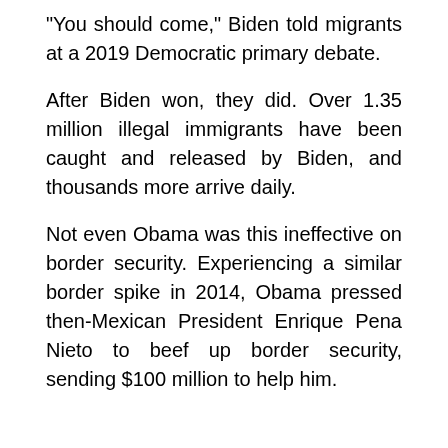“You should come,” Biden told migrants at a 2019 Democratic primary debate.
After Biden won, they did. Over 1.35 million illegal immigrants have been caught and released by Biden, and thousands more arrive daily.
Not even Obama was this ineffective on border security. Experiencing a similar border spike in 2014, Obama pressed then-Mexican President Enrique Pena Nieto to beef up border security, sending $100 million to help him.